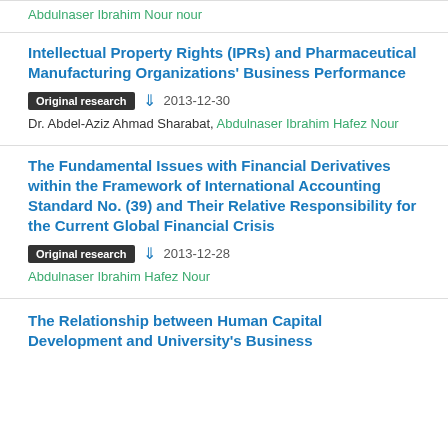Abdulnaser Ibrahim Nour nour
Intellectual Property Rights (IPRs) and Pharmaceutical Manufacturing Organizations' Business Performance
Original research  2013-12-30
Dr. Abdel-Aziz Ahmad Sharabat, Abdulnaser Ibrahim Hafez Nour
The Fundamental Issues with Financial Derivatives within the Framework of International Accounting Standard No. (39) and Their Relative Responsibility for the Current Global Financial Crisis
Original research  2013-12-28
Abdulnaser Ibrahim Hafez Nour
The Relationship between Human Capital Development and University's Business Performance